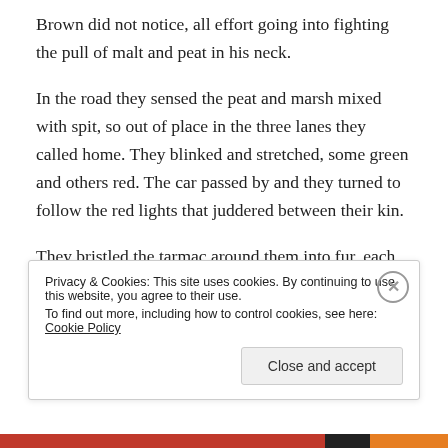Brown did not notice, all effort going into fighting the pull of malt and peat in his neck.
In the road they sensed the peat and marsh mixed with spit, so out of place in the three lanes they called home. They blinked and stretched, some green and others red. The car passed by and they turned to follow the red lights that juddered between their kin.
They bristled the tarmac around them into fur, each strand thick as treacle and hard as stone. Tongues red with the blood spilt upon the lanes. Then they ran. They
Privacy & Cookies: This site uses cookies. By continuing to use this website, you agree to their use.
To find out more, including how to control cookies, see here: Cookie Policy
Close and accept